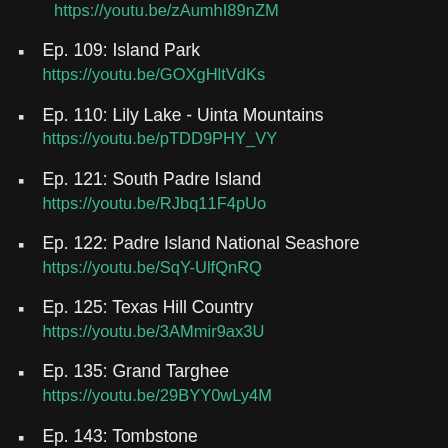https://youtu.be/zAumhI89nZM
Ep. 109: Island Park
https://youtu.be/GOXgHltVdKs
Ep. 110: Lily Lake - Uinta Mountains
https://youtu.be/pTDD9PHY_VY
Ep. 121: South Padre Island
https://youtu.be/RJbq11F4pUo
Ep. 122: Padre Island National Seashore
https://youtu.be/SqY-UlfQnRQ
Ep. 125: Texas Hill Country
https://youtu.be/3AMmir9ax3U
Ep. 135: Grand Targhee
https://youtu.be/29BYY0wLy4M
Ep. 143: Tombstone